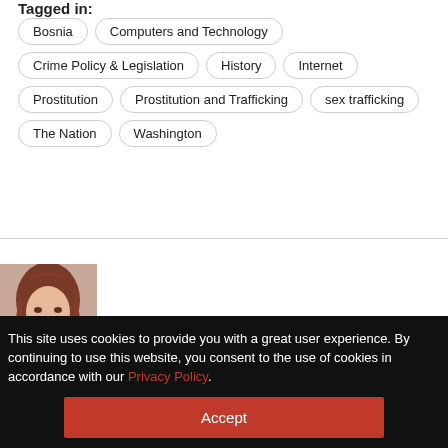Tagged in:
Bosnia
Computers and Technology
Crime Policy & Legislation
History
Internet
Prostitution
Prostitution and Trafficking
sex trafficking
The Nation
Washington
[Figure (photo): Author headshot photo of a woman with dark hair]
This site uses cookies to provide you with a great user experience. By continuing to use this website, you consent to the use of cookies in accordance with our Privacy Policy.